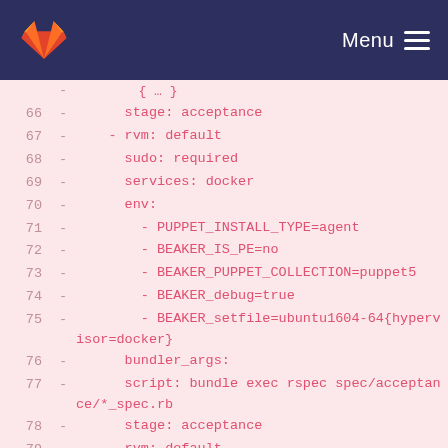GitLab navigation bar with logo and Menu button
[Figure (screenshot): Code diff view showing lines 66-82 of a YAML configuration file with deletion markers, line numbers, and syntax highlighting on a pink background]
66  -      stage: acceptance
67  -    - rvm: default
68  -      sudo: required
69  -      services: docker
70  -      env:
71  -        - PUPPET_INSTALL_TYPE=agent
72  -        - BEAKER_IS_PE=no
73  -        - BEAKER_PUPPET_COLLECTION=puppet5
74  -        - BEAKER_debug=true
75  -        - BEAKER_setfile=ubuntu1604-64{hypervisor=docker}
76  -      bundler_args:
77  -      script: bundle exec rspec spec/acceptance/*_spec.rb
78  -      stage: acceptance
79  -    - rvm: default
80  -      sudo: required
81  -      services: docker
82  -      env: